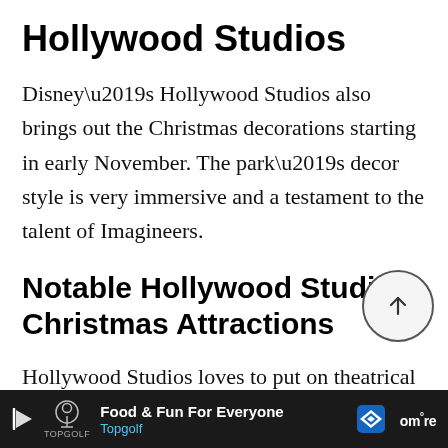Hollywood Studios
Disney’s Hollywood Studios also brings out the Christmas decorations starting in early November. The park’s decor style is very immersive and a testament to the talent of Imagineers.
Notable Hollywood Studios Christmas Attractions
Hollywood Studios loves to put on theatrical and exciting events, and the
Food & Fun For Everyone Topgolf